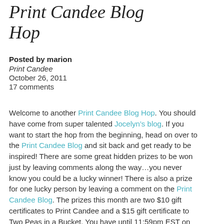Print Candee Blog Hop
Posted by marion
Print Candee
October 26, 2011
17 comments
Welcome to another Print Candee Blog Hop. You should have come from super talented Jocelyn’s blog. If you want to start the hop from the beginning, head on over to the Print Candee Blog and sit back and get ready to be inspired! There are some great hidden prizes to be won just by leaving comments along the way…you never know you could be a lucky winner! There is also a prize for one lucky person by leaving a comment on the Print Candee Blog. The prizes this month are two $10 gift certificates to Print Candee and a $15 gift certificate to Two Peas in a Bucket. You have until 11:59pm EST on Saturday, October the 29th to comment for prizes.